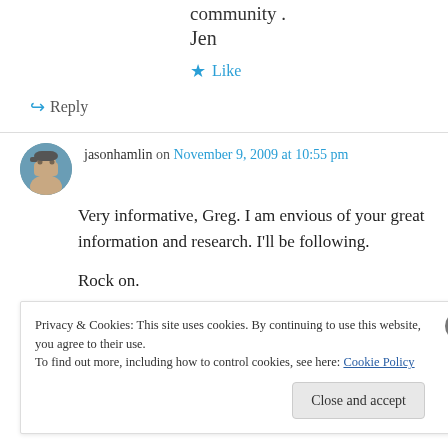community .
Jen
★ Like
↪ Reply
jasonhamlin on November 9, 2009 at 10:55 pm
Very informative, Greg. I am envious of your great information and research. I'll be following.

Rock on.
Privacy & Cookies: This site uses cookies. By continuing to use this website, you agree to their use.
To find out more, including how to control cookies, see here: Cookie Policy
Close and accept